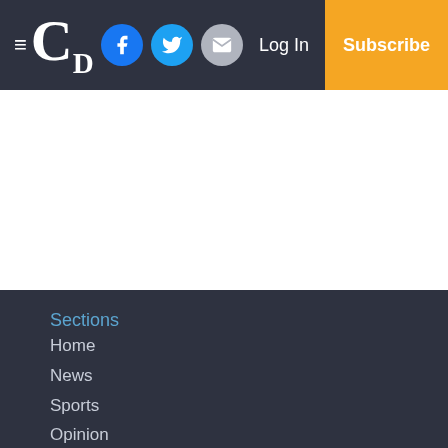CD — Log In | Subscribe
Sections
Home
News
Sports
Opinion
Columns
Lifestyles
Classifieds
Obits
Small Business